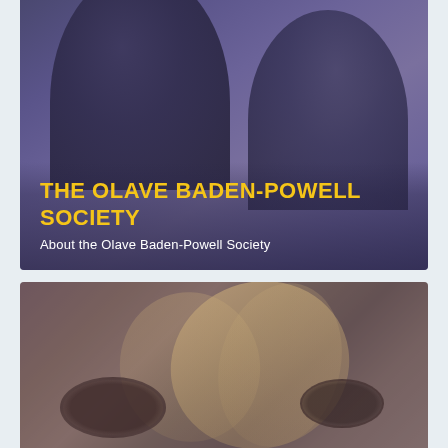[Figure (photo): Two people photographed from below looking upward, with a purple-blue color overlay tint. Text overlay shows organization name and subtitle.]
THE OLAVE BADEN-POWELL SOCIETY
About the Olave Baden-Powell Society
[Figure (photo): Close-up photo of people with long blonde hair and sunglasses, with a warm purple-pink color overlay tint.]